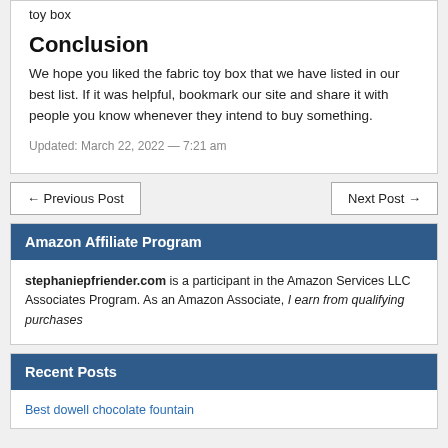toy box
Conclusion
We hope you liked the fabric toy box that we have listed in our best list. If it was helpful, bookmark our site and share it with people you know whenever they intend to buy something.
Updated: March 22, 2022 — 7:21 am
← Previous Post
Next Post →
Amazon Affiliate Program
stephaniepfriender.com is a participant in the Amazon Services LLC Associates Program. As an Amazon Associate, I earn from qualifying purchases
Recent Posts
Best dowell chocolate fountain